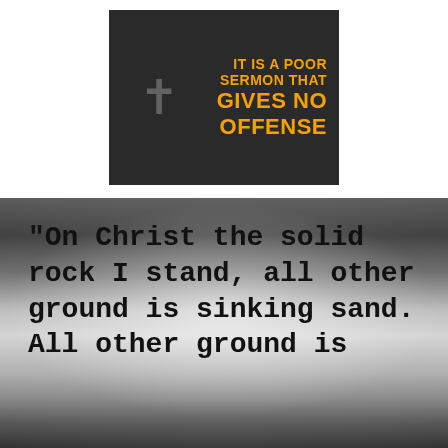[Figure (illustration): Dark background image of a church interior with a cross symbol on the left, and bold orange text on the right reading: IT IS A POOR SERMON THAT GIVES NO OFFENSE]
[Figure (illustration): Black and white textured background with typewriter-style text reading: On Christ the solid rock I stand, all other ground is sinking sand. All other ground is]